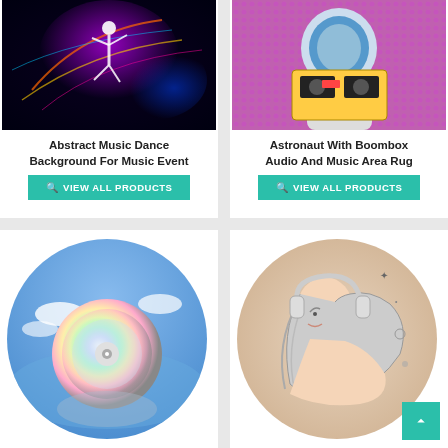[Figure (illustration): Abstract music dance background with glowing dancer silhouette and colorful light streaks on dark background]
Abstract Music Dance Background For Music Event
VIEW ALL PRODUCTS
[Figure (illustration): Pop art style astronaut holding a boombox on purple halftone background]
Astronaut With Boombox Audio And Music Area Rug
VIEW ALL PRODUCTS
[Figure (illustration): CD disc floating above reflective water surface with sky and clouds background]
[Figure (illustration): Circular illustration of a woman in profile wearing headphones with flowing hair and cosmic elements]